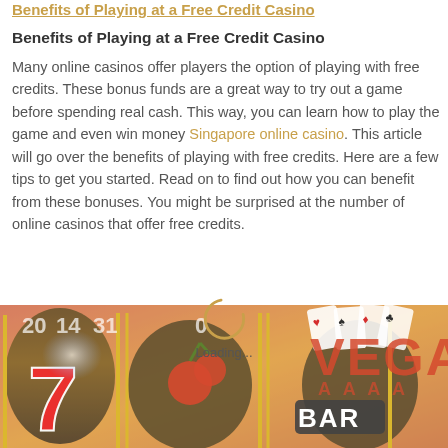Benefits of Playing at a Free Credit Casino
Benefits of Playing at a Free Credit Casino
Many online casinos offer players the option of playing with free credits. These bonus funds are a great way to try out a game before spending real cash. This way, you can learn how to play the game and even win money Singapore online casino. This article will go over the benefits of playing with free credits. Here are a few tips to get you started. Read on to find out how you can benefit from these bonuses. You might be surprised at the number of online casinos that offer free credits.
[Figure (photo): Casino slot machine image showing a '7' and 'BAR' reel, playing cards, and a 'VEGAS' sign in the background, with warm red and yellow tones. A loading spinner overlay is visible on top.]